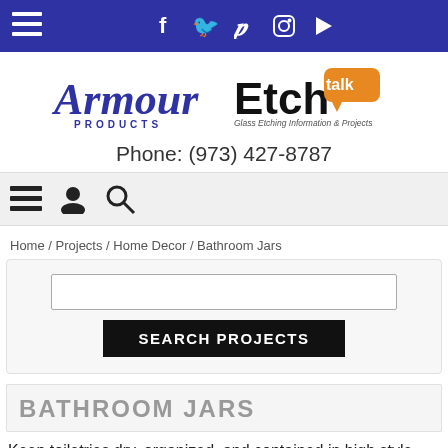Navigation bar with menu, Facebook, Twitter, Pinterest, Instagram, Play icons
[Figure (logo): Armour Products logo with italic script and PRODUCTS subtitle]
[Figure (logo): Etch Talk logo with talk bubble and 'Glass Etching Information & Projects' subtitle]
Phone: (973) 427-8787
[Figure (other): Icon navigation bar with hamburger menu, user icon, and search icon]
Home / Projects / Home Decor / Bathroom Jars
[Figure (screenshot): Search box input field and SEARCH PROJECTS button]
BATHROOM JARS
Keep toiletries dry, organized, and contained in high style with